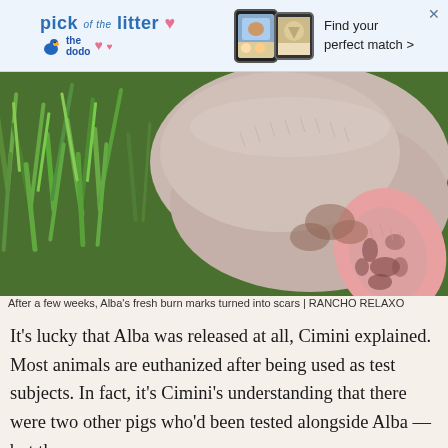[Figure (infographic): Advertisement banner for 'pick of the litter' by The Dodo pet adoption service with phone mockups showing animal photos and text 'Find your perfect match >']
[Figure (photo): Close-up photograph of a pig from above, showing its pink back and ear with dark burn scars/marks, surrounded by green grass]
After a few weeks, Alba's fresh burn marks turned into scars | RANCHO RELAXO
It's lucky that Alba was released at all, Cimini explained. Most animals are euthanized after being used as test subjects. In fact, it's Cimini's understanding that there were two other pigs who'd been tested alongside Alba — but they were